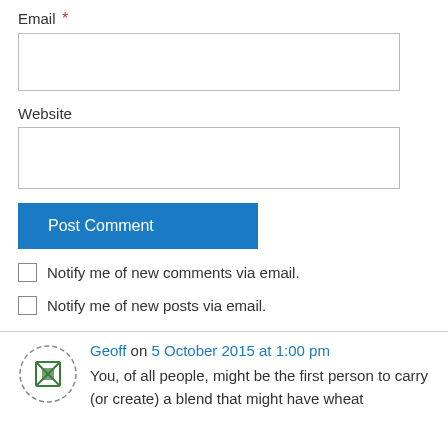Email *
Website
Post Comment
Notify me of new comments via email.
Notify me of new posts via email.
Geoff on 5 October 2015 at 1:00 pm
You, of all people, might be the first person to carry (or create) a blend that might have wheat